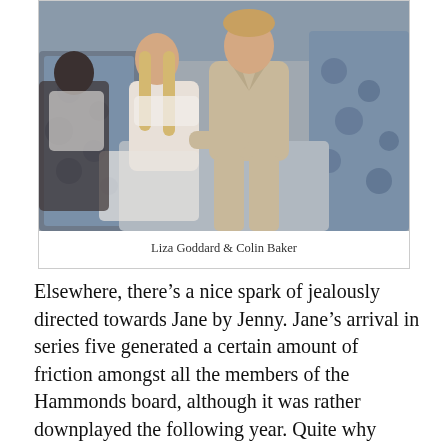[Figure (photo): Photo of Liza Goddard and Colin Baker sitting on a sofa with patterned cushions. Colin Baker wears a beige suit, Liza Goddard is beside him.]
Liza Goddard & Colin Baker
Elsewhere, there's a nice spark of jealously directed towards Jane by Jenny. Jane's arrival in series five generated a certain amount of friction amongst all the members of the Hammonds board, although it was rather downplayed the following year. Quite why Jenny should be so set against the possibility of Jane becoming a Hammond (after all, that's